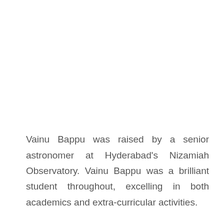Vainu Bappu was raised by a senior astronomer at Hyderabad's Nizamiah Observatory. Vainu Bappu was a brilliant student throughout, excelling in both academics and extra-curricular activities.